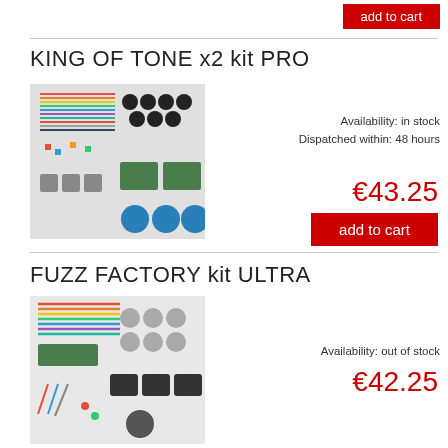add to cart
KING OF TONE x2 kit PRO
[Figure (photo): Electronics kit components spread out — rainbow ribbon cables, black knobs, potentiometers, PCBs, and various electronic components on white background]
Availability: in stock
Dispatched within: 48 hours
€43.25
add to cart
FUZZ FACTORY kit ULTRA
[Figure (photo): Electronics kit components including ribbon cables, potentiometers, PCBs, connectors and hardware on white background]
Availability: out of stock
€42.25